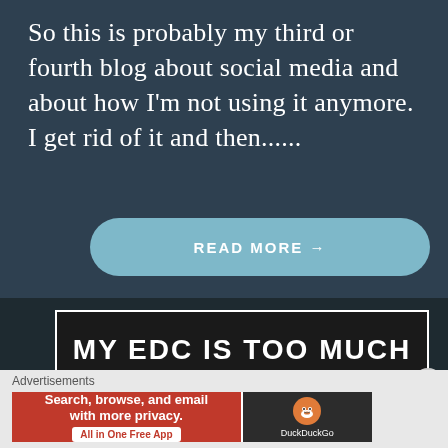So this is probably my third or fourth blog about social media and about how I'm not using it anymore. I get rid of it and then......
READ MORE →
MY EDC IS TOO MUCH
Advertisements
[Figure (screenshot): DuckDuckGo advertisement banner: orange left section reading 'Search, browse, and email with more privacy. All in One Free App' and dark right section with DuckDuckGo duck logo]